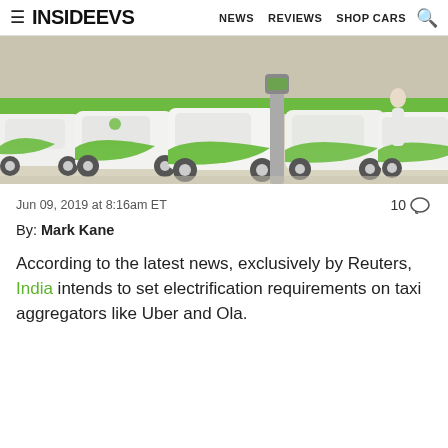InsideEVs — NEWS  REVIEWS  SHOP CARS
[Figure (photo): Row of white and green electric vehicles parked at a charging station, with a charging post visible in the center.]
Jun 09, 2019 at 8:16am ET
10 comments
By: Mark Kane
According to the latest news, exclusively by Reuters, India intends to set electrification requirements on taxi aggregators like Uber and Ola.